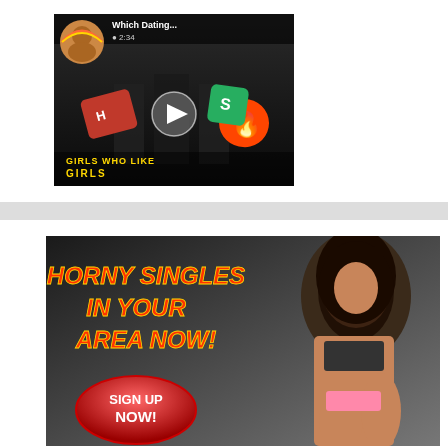[Figure (screenshot): Video thumbnail showing two people holding dating app logos (Her, Tinder) with text 'Which Dating...' and 'GIRLS WHO LIKE GIRLS' overlay, with a circular avatar and play button]
[Figure (advertisement): Adult dating advertisement banner with text 'HORNY SINGLES IN YOUR AREA NOW!' in red/yellow italic bold font, a red 'SIGN UP NOW!' button, and a photo of a woman in bikini on the right side, dark gradient background]